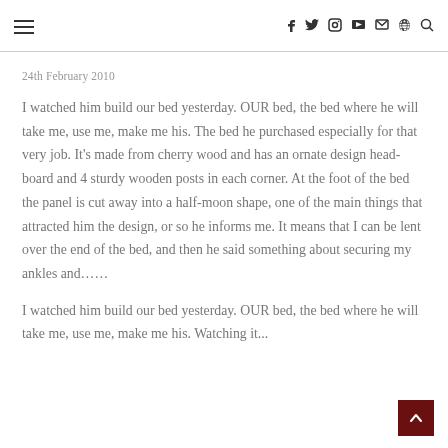☰  f  𝕥  ⊙  ▶  ✉  )))  🔍
24th February 2010
I watched him build our bed yesterday. OUR bed, the bed where he will take me, use me, make me his. The bed he purchased especially for that very job. It's made from cherry wood and has an ornate design head-board and 4 sturdy wooden posts in each corner. At the foot of the bed the panel is cut away into a half-moon shape, one of the main things that attracted him the design, or so he informs me. It means that I can be lent over the end of the bed, and then he said something about securing my ankles and……
I watched him build our bed yesterday. OUR bed, the bed where he will take me, use me, make me his. Watching it...